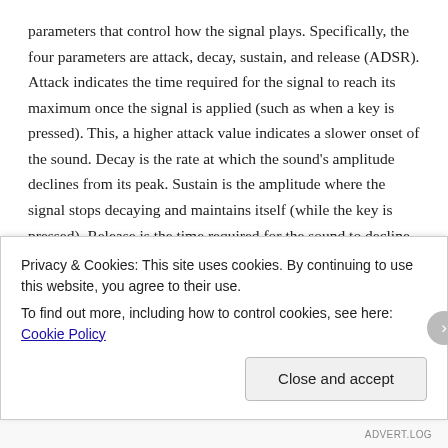parameters that control how the signal plays. Specifically, the four parameters are attack, decay, sustain, and release (ADSR). Attack indicates the time required for the signal to reach its maximum once the signal is applied (such as when a key is pressed). This, a higher attack value indicates a slower onset of the sound. Decay is the rate at which the sound's amplitude declines from its peak. Sustain is the amplitude where the signal stops decaying and maintains itself (while the key is pressed). Release is the time required for the sound to decline from the sustain amplitude to zero. Modification of these parameters is particularly useful when using a synthesizer to model the sound of a real instrument.
Privacy & Cookies: This site uses cookies. By continuing to use this website, you agree to their use.
To find out more, including how to control cookies, see here: Cookie Policy